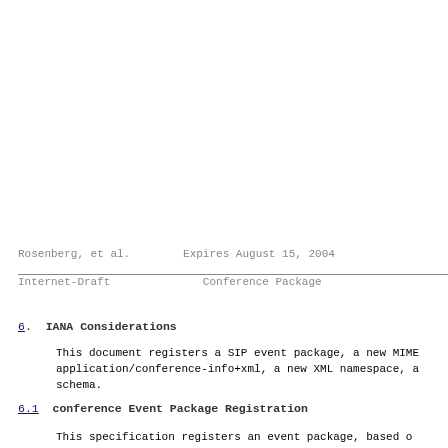Rosenberg, et al.        Expires August 15, 2004
Internet-Draft              Conference Package
6.  IANA Considerations
This document registers a SIP event package, a new MIME
application/conference-info+xml, a new XML namespace, a
schema.
6.1  conference Event Package Registration
This specification registers an event package, based o